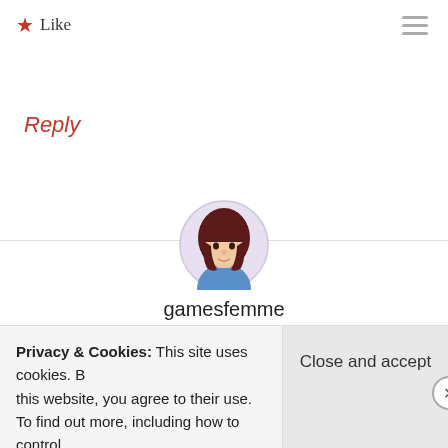★ Like
Reply
[Figure (illustration): Circular avatar of a woman with dark hair and a light purple background circle]
gamesfemme
August 12, 2011 at 4:14 pm
Loved this article!! 🙂
I am a teaching assistant at a university and I feel I also
Privacy & Cookies: This site uses cookies. By continuing to use this website, you agree to their use.
To find out more, including how to control cookies, see here:
Cookie Policy
Close and accept